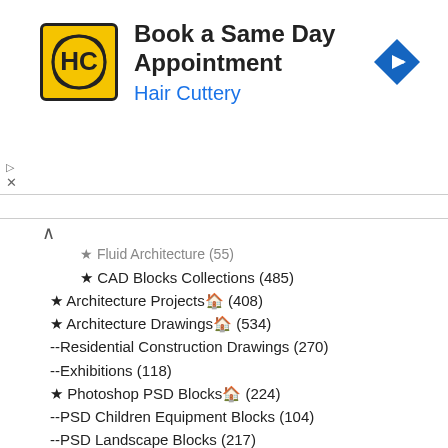[Figure (other): Hair Cuttery advertisement banner with logo, title 'Book a Same Day Appointment', subtitle 'Hair Cuttery', and a blue navigation arrow icon]
★ Fluid Architecture (55)
★ CAD Blocks Collections (485)
★ Architecture Projects🏠 (408)
★ Architecture Drawings🏠 (534)
--Residential Construction Drawings (270)
--Exhibitions (118)
★ Photoshop PSD Blocks🏠 (224)
--PSD Children Equipment Blocks (104)
--PSD Landscape Blocks (217)
--Photoshop Hand-painted PSD Blocks (116)
--Free Photoshop PSD Blocks (224)
★ Interior Design Drawings🏠 (473)
--Bathroom Design (142)
--Bedroom Design (177)
--Ceiling Design (125)
--Childroom Design (81)